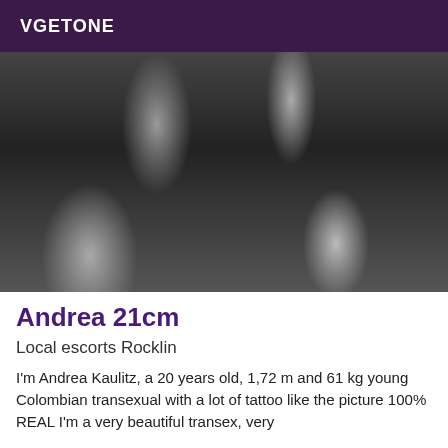VGETONE
[Figure (photo): Black and white close-up photo of a person wearing dark shorts with Asian script/characters printed on them]
Andrea 21cm
Local escorts Rocklin
I'm Andrea Kaulitz, a 20 years old, 1,72 m and 61 kg young Colombian transexual with a lot of tattoo like the picture 100% REAL I'm a very beautiful transex, very